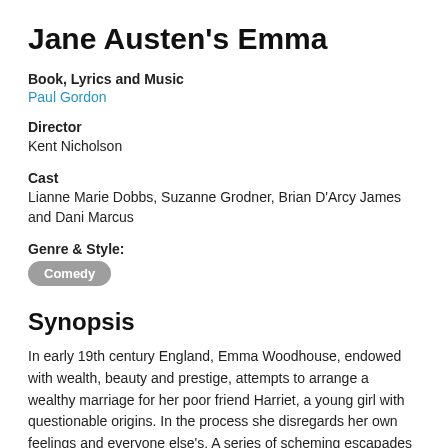Jane Austen's Emma
Book, Lyrics and Music
Paul Gordon
Director
Kent Nicholson
Cast
Lianne Marie Dobbs, Suzanne Grodner, Brian D'Arcy James and Dani Marcus
Genre & Style:
Comedy
Synopsis
In early 19th century England, Emma Woodhouse, endowed with wealth, beauty and prestige, attempts to arrange a wealthy marriage for her poor friend Harriet, a young girl with questionable origins. In the process she disregards her own feelings and everyone else's. A series of scheming escapades ensue as Jane Austen's characters deliver us delicious irony while the seemingly trivial events provide social observation and profound moral significance. Creator Paul Gordon was nominated for a 2000 Tony